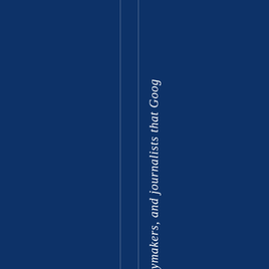[Figure (other): Dark navy blue background page with two thin vertical white/light lines acting as column dividers. On the right portion, italic white text reading 'ymakers, and journalists that Goog' is displayed vertically (rotated 90 degrees), representing a partial view of a sentence about policymakers and journalists.]